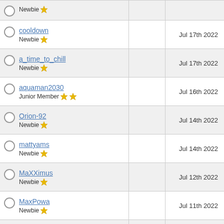| User |  | Date |
| --- | --- | --- |
| Newbie ★ |  |  |
| cooldown
Newbie ★ |  | Jul 17th 2022 |
| a_time_to_chill
Newbie ★ |  | Jul 17th 2022 |
| aquaman2030
Junior Member ★★ |  | Jul 16th 2022 |
| Orion-92
Newbie ★ |  | Jul 14th 2022 |
| mattyams
Newbie ★ |  | Jul 14th 2022 |
| MaXXimus
Newbie ★ |  | Jul 12th 2022 |
| MaxPowa
Newbie ★ |  | Jul 11th 2022 |